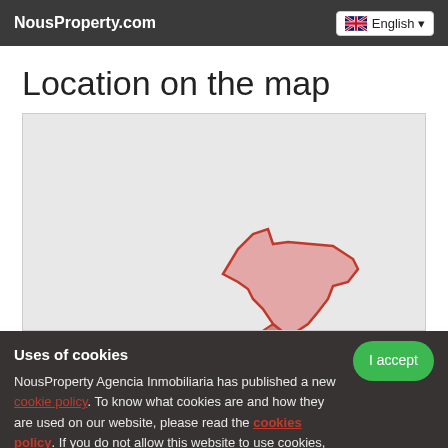NousProperty.com | English
Location on the map
[Figure (map): A map showing a region highlighted in red/pink on a light grey map background]
Uses of cookies
NousProperty Agencia Inmobiliaria has published a new cookie policy. To know what cookies are and how they are used on our website, please read the cookies policy. If you do not allow this website to use cookies, some pages will not work as expected. By closing this message, and unless you have cookies disabled, you can use it on this device, in accordance with the cookie policy.